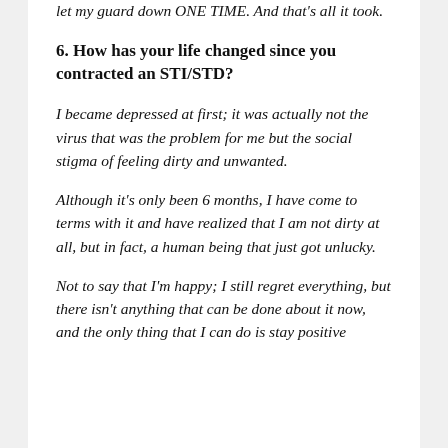let my guard down ONE TIME. And that's all it took.
6. How has your life changed since you contracted an STI/STD?
I became depressed at first; it was actually not the virus that was the problem for me but the social stigma of feeling dirty and unwanted.
Although it's only been 6 months, I have come to terms with it and have realized that I am not dirty at all, but in fact, a human being that just got unlucky.
Not to say that I'm happy; I still regret everything, but there isn't anything that can be done about it now, and the only thing that I can do is stay positive